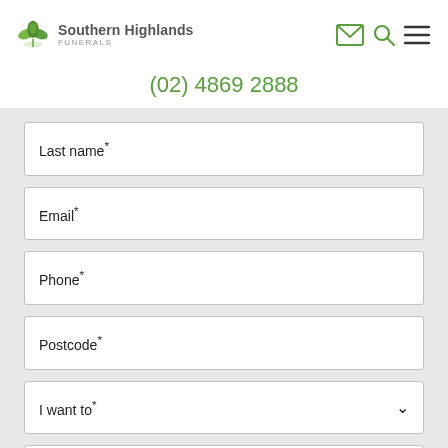[Figure (logo): Southern Highlands Funerals logo with green leaf/lotus icon and company name]
(02) 4869 2888
Last name*
Email*
Phone*
Postcode*
I want to*